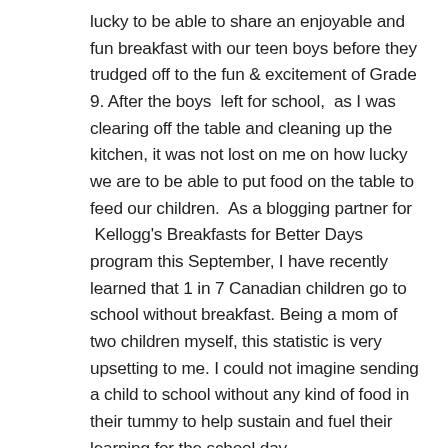lucky to be able to share an enjoyable and fun breakfast with our teen boys before they trudged off to the fun & excitement of Grade 9. After the boys  left for school,  as I was clearing off the table and cleaning up the kitchen, it was not lost on me on how lucky we are to be able to put food on the table to feed our children.  As a blogging partner for  Kellogg's Breakfasts for Better Days program this September, I have recently learned that 1 in 7 Canadian children go to school without breakfast. Being a mom of two children myself, this statistic is very upsetting to me. I could not imagine sending a child to school without any kind of food in their tummy to help sustain and fuel their learning for the school day.